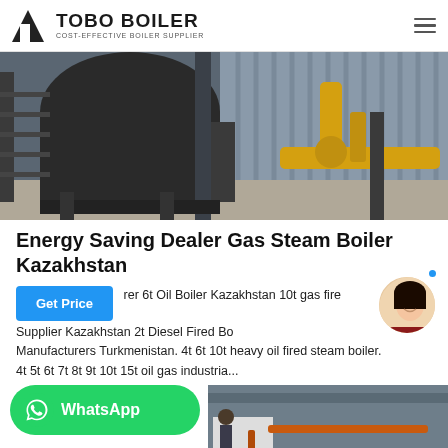TOBO BOILER — COST-EFFECTIVE BOILER SUPPLIER
[Figure (photo): Industrial boiler installation in a warehouse showing a large dark cylindrical boiler vessel, yellow pipes, metal stairs, corrugated metal wall.]
Energy Saving Dealer Gas Steam Boiler Kazakhstan
rer 6t Oil Boiler Kazakhstan 10t gas fire Supplier Kazakhstan 2t Diesel Fired Bo Manufacturers Turkmenistan. 4t 6t 10t heavy oil fired steam boiler. 4t 5t 6t 7t 8t 9t 10t 15t oil gas industria...
[Figure (photo): Industrial boiler room interior with orange/copper pipes and equipment.]